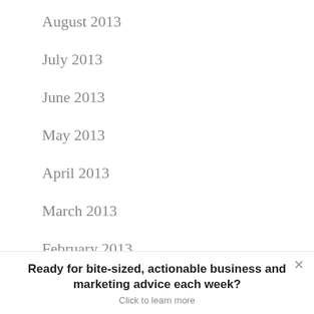August 2013
July 2013
June 2013
May 2013
April 2013
March 2013
February 2013
January 2013
Ready for bite-sized, actionable business and marketing advice each week?
Click to learn more